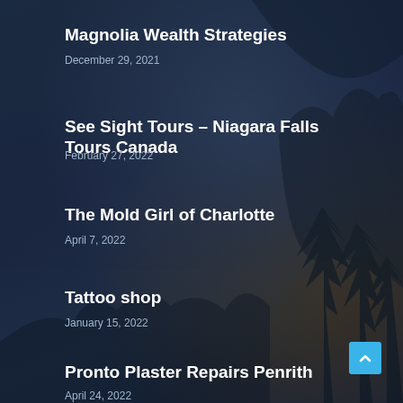Magnolia Wealth Strategies
December 29, 2021
See Sight Tours – Niagara Falls Tours Canada
February 27, 2022
The Mold Girl of Charlotte
April 7, 2022
Tattoo shop
January 15, 2022
Pronto Plaster Repairs Penrith
April 24, 2022